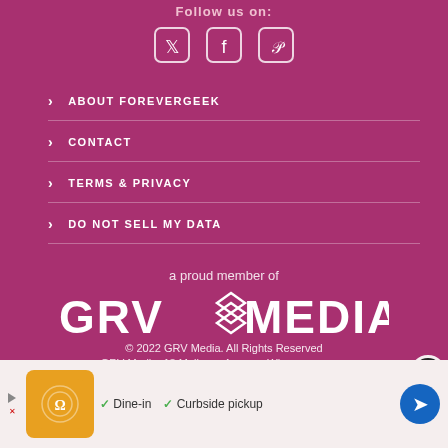Follow us on:
[Figure (illustration): Social media icons: Twitter, Facebook, Pinterest in outlined square boxes]
ABOUT FOREVERGEEK
CONTACT
TERMS & PRIVACY
DO NOT SELL MY DATA
a proud member of
[Figure (logo): GRV Media logo with diamond/layered shape icon between GRV and MEDIA text]
© 2022 GRV Media. All Rights Reserved
GRV Media, 18 Mulberry Avenue, Wi...
[Figure (screenshot): Advertisement bar: restaurant ad with orange logo, Dine-in and Curbside pickup checkmarks, blue navigation arrow]
[Figure (illustration): Close button (X) in black circle with white border]